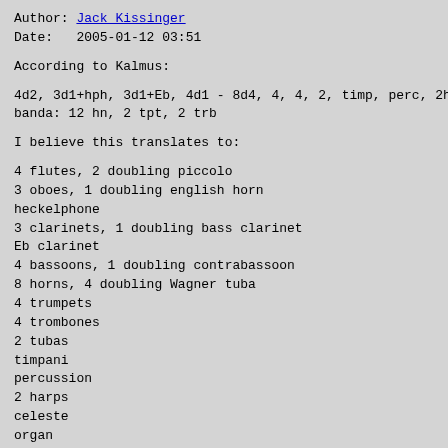Author: Jack Kissinger
Date:   2005-01-12 03:51
According to Kalmus:
4d2, 3d1+hph, 3d1+Eb, 4d1 - 8d4, 4, 4, 2, timp, perc, 2hp, c
banda: 12 hn, 2 tpt, 2 trb
I believe this translates to:
4 flutes, 2 doubling piccolo
3 oboes, 1 doubling english horn
heckelphone
3 clarinets, 1 doubling bass clarinet
Eb clarinet
4 bassoons, 1 doubling contrabassoon
8 horns, 4 doubling Wagner tuba
4 trumpets
4 trombones
2 tubas
timpani
percussion
2 harps
celeste
organ
strings
a separate band including:
12 horns
2 trumpets
2 trombones